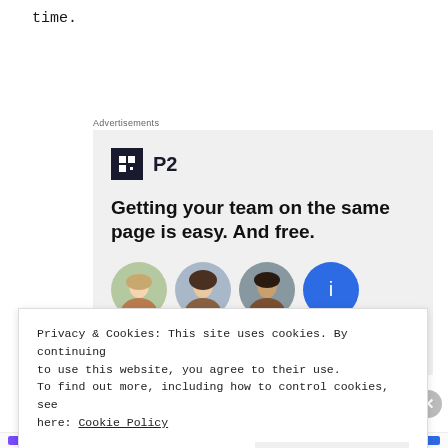time.
[Figure (screenshot): Advertisement banner for P2 product. Shows P2 logo (dark square with grid icon and 'P2' text) and headline: 'Getting your team on the same page is easy. And free.' with avatar images below.]
Privacy & Cookies: This site uses cookies. By continuing to use this website, you agree to their use. To find out more, including how to control cookies, see here: Cookie Policy
Close and accept